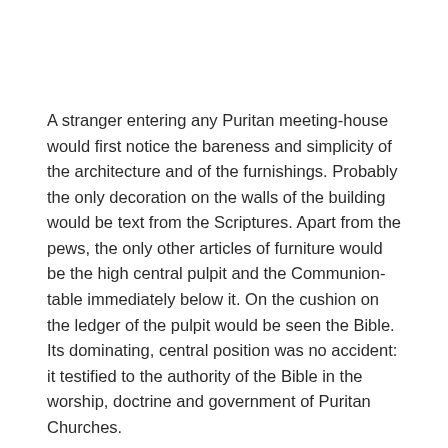A stranger entering any Puritan meeting-house would first notice the bareness and simplicity of the architecture and of the furnishings. Probably the only decoration on the walls of the building would be text from the Scriptures. Apart from the pews, the only other articles of furniture would be the high central pulpit and the Communion-table immediately below it. On the cushion on the ledger of the pulpit would be seen the Bible. Its dominating, central position was no accident: it testified to the authority of the Bible in the worship, doctrine and government of Puritan Churches.
The impression of unadorned simplicity would be maintained at the worship.
The minister would ascend to the pulpit, dressed in a